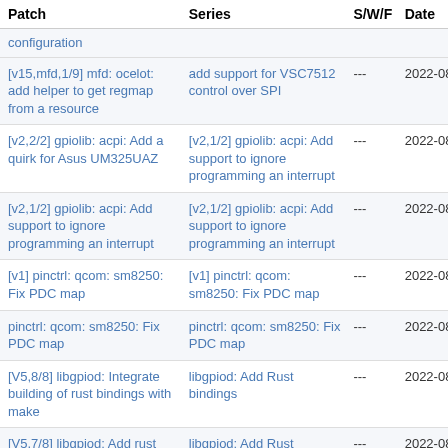| Patch | Series | S/W/F | Date |
| --- | --- | --- | --- |
| configuration |  |  |  |
| [v15,mfd,1/9] mfd: ocelot: add helper to get regmap from a resource | add support for VSC7512 control over SPI | --- | 2022-08 |
| [v2,2/2] gpiolib: acpi: Add a quirk for Asus UM325UAZ | [v2,1/2] gpiolib: acpi: Add support to ignore programming an interrupt | --- | 2022-08 |
| [v2,1/2] gpiolib: acpi: Add support to ignore programming an interrupt | [v2,1/2] gpiolib: acpi: Add support to ignore programming an interrupt | --- | 2022-08 |
| [v1] pinctrl: qcom: sm8250: Fix PDC map | [v1] pinctrl: qcom: sm8250: Fix PDC map | --- | 2022-08 |
| pinctrl: qcom: sm8250: Fix PDC map | pinctrl: qcom: sm8250: Fix PDC map | --- | 2022-08 |
| [V5,8/8] libgpiod: Integrate building of rust bindings with make | libgpiod: Add Rust bindings | --- | 2022-08 |
| [V5,7/8] libgpiod: Add rust tests | libgpiod: Add Rust bindings | --- | 2022-08 |